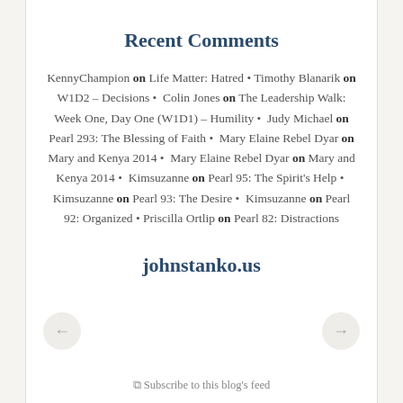Recent Comments
KennyChampion on Life Matter: Hatred • Timothy Blanarik on W1D2 - Decisions • Colin Jones on The Leadership Walk: Week One, Day One (W1D1) - Humility • Judy Michael on Pearl 293: The Blessing of Faith • Mary Elaine Rebel Dyar on Mary and Kenya 2014 • Mary Elaine Rebel Dyar on Mary and Kenya 2014 • Kimsuzanne on Pearl 95: The Spirit's Help • Kimsuzanne on Pearl 93: The Desire • Kimsuzanne on Pearl 92: Organized • Priscilla Ortlip on Pearl 82: Distractions
johnstanko.us
Subscribe to this blog's feed